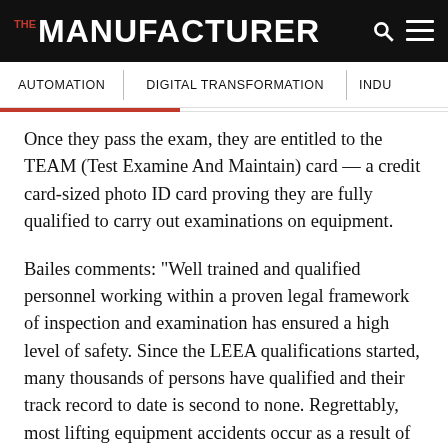THE MANUFACTURER
AUTOMATION   DIGITAL TRANSFORMATION   INDU
Once they pass the exam, they are entitled to the TEAM (Test Examine And Maintain) card — a credit card-sized photo ID card proving they are fully qualified to carry out examinations on equipment.
Bailes comments: “Well trained and qualified personnel working within a proven legal framework of inspection and examination has ensured a high level of safety. Since the LEEA qualifications started, many thousands of persons have qualified and their track record to date is second to none. Regrettably, most lifting equipment accidents occur as a result of the way the equipment is used rather than because of any failure on the part of the